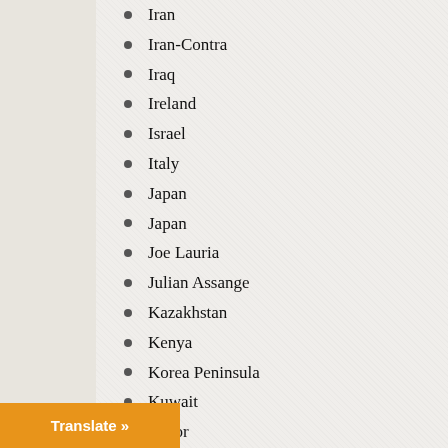Iran
Iran-Contra
Iraq
Ireland
Israel
Italy
Japan
Japan
Joe Lauria
Julian Assange
Kazakhstan
Kenya
Korea Peninsula
Kuwait
Labor
Laos
Latin America
Lebanon
Legal
Translate »